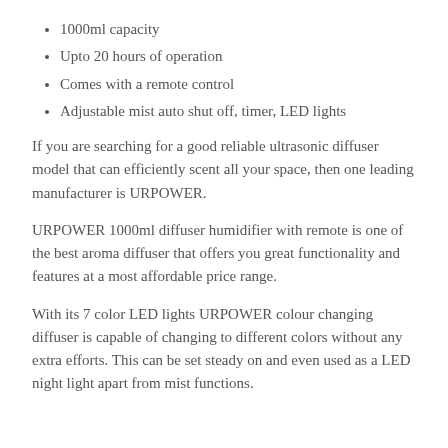1000ml capacity
Upto 20 hours of operation
Comes with a remote control
Adjustable mist auto shut off, timer, LED lights
If you are searching for a good reliable ultrasonic diffuser model that can efficiently scent all your space, then one leading manufacturer is URPOWER.
URPOWER 1000ml diffuser humidifier with remote is one of the best aroma diffuser that offers you great functionality and features at a most affordable price range.
With its 7 color LED lights URPOWER colour changing diffuser is capable of changing to different colors without any extra efforts. This can be set steady on and even used as a LED night light apart from mist functions.